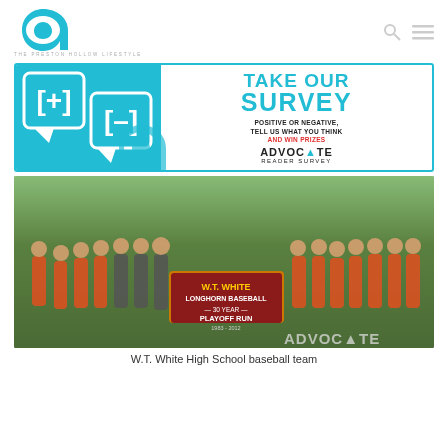[Figure (logo): The Preston Hollow Lifestyle Advocate logo - stylized letter 'a' in teal/cyan with tagline]
[Figure (infographic): Advocate Reader Survey banner: Take Our Survey - Positive or Negative, Tell Us What You Think And Win Prizes]
[Figure (photo): W.T. White High School baseball team group photo on a baseball field holding a W.T. White Longhorn Baseball 30 Year Playoff Run 1983-2012 sign]
W.T. White High School baseball team